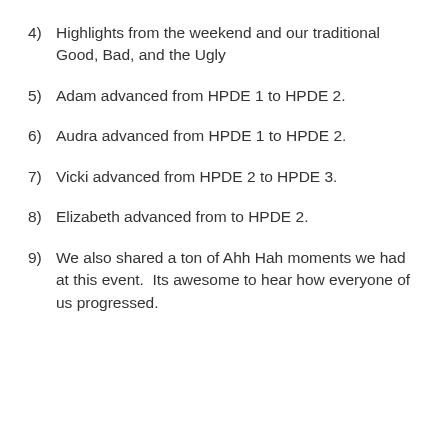4)  Highlights from the weekend and our traditional Good, Bad, and the Ugly
5)  Adam advanced from HPDE 1 to HPDE 2.
6)  Audra advanced from HPDE 1 to HPDE 2.
7)  Vicki advanced from HPDE 2 to HPDE 3.
8)  Elizabeth advanced from to HPDE 2.
9)  We also shared a ton of Ahh Hah moments we had at this event.  Its awesome to hear how everyone of us progressed.